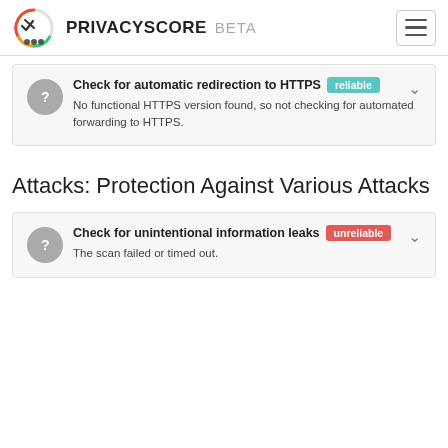PRIVACYSCORE BETA
Check for automatic redirection to HTTPS [reliable]
No functional HTTPS version found, so not checking for automated forwarding to HTTPS.
Attacks: Protection Against Various Attacks
Check for unintentional information leaks [unreliable]
The scan failed or timed out.